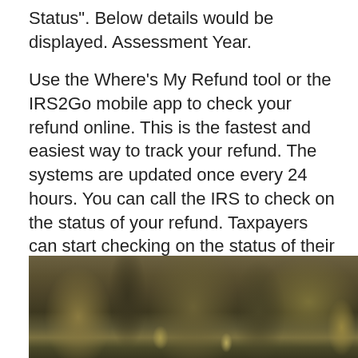Status". Below details would be displayed. Assessment Year.

Use the Where's My Refund tool or the IRS2Go mobile app to check your refund online. This is the fastest and easiest way to track your refund. The systems are updated once every 24 hours. You can call the IRS to check on the status of your refund. Taxpayers can start checking on the status of their return within 24 hours after the IRS received their e-filed return, or four weeks after they mail a paper return. Where's My Refund?
Alce nero
[Figure (photo): A blurry outdoor photo showing a dark, bokeh forest or natural background with warm golden and brown tones, partially visible at the bottom of the page.]